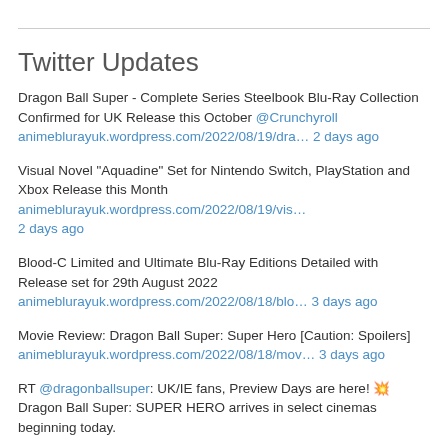Twitter Updates
Dragon Ball Super - Complete Series Steelbook Blu-Ray Collection Confirmed for UK Release this October @Crunchyroll animeblurayuk.wordpress.com/2022/08/19/dra… 2 days ago
Visual Novel "Aquadine" Set for Nintendo Switch, PlayStation and Xbox Release this Month animeblurayuk.wordpress.com/2022/08/19/vis… 2 days ago
Blood-C Limited and Ultimate Blu-Ray Editions Detailed with Release set for 29th August 2022 animeblurayuk.wordpress.com/2022/08/18/blo… 3 days ago
Movie Review: Dragon Ball Super: Super Hero [Caution: Spoilers] animeblurayuk.wordpress.com/2022/08/18/mov… 3 days ago
RT @dragonballsuper: UK/IE fans, Preview Days are here! 💥 Dragon Ball Super: SUPER HERO arrives in select cinemas beginning today.